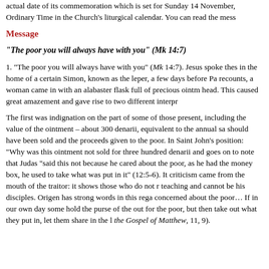actual date of its commemoration which is set for Sunday 14 November, Ordinary Time in the Church's liturgical calendar. You can read the mess
Message
“The poor you will always have with you” (Mk 14:7)
1. “The poor you will always have with you” (Mk 14:7). Jesus spoke these in the home of a certain Simon, known as the leper, a few days before Pa recounts, a woman came in with an alabaster flask full of precious ointm head. This caused great amazement and gave rise to two different interpr
The first was indignation on the part of some of those present, including the value of the ointment – about 300 denarii, equivalent to the annual sa should have been sold and the proceeds given to the poor. In Saint John’s position: “Why was this ointment not sold for three hundred denarii and goes on to note that Judas “said this not because he cared about the poor, as he had the money box, he used to take what was put in it” (12:5-6). It criticism came from the mouth of the traitor: it shows those who do not r teaching and cannot be his disciples. Origen has strong words in this rega concerned about the poor… If in our own day some hold the purse of the out for the poor, but then take out what they put in, let them share in the l the Gospel of Matthew, 11, 9).